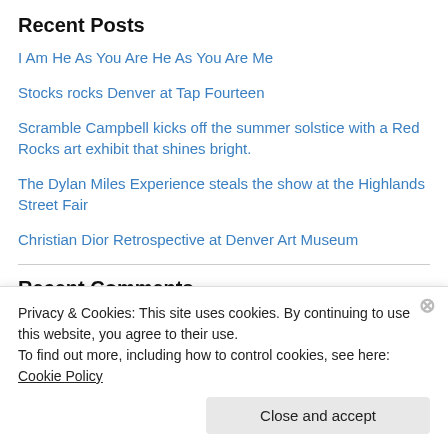Recent Posts
I Am He As You Are He As You Are Me
Stocks rocks Denver at Tap Fourteen
Scramble Campbell kicks off the summer solstice with a Red Rocks art exhibit that shines bright.
The Dylan Miles Experience steals the show at the Highlands Street Fair
Christian Dior Retrospective at Denver Art Museum
Recent Comments
Jethro on Scramble Campbell kicks off th…
Privacy & Cookies: This site uses cookies. By continuing to use this website, you agree to their use.
To find out more, including how to control cookies, see here: Cookie Policy
Close and accept